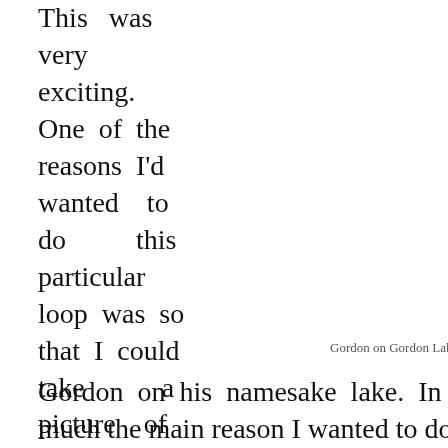This was very exciting. One of the reasons I'd wanted to do this particular loop was so that I could take a picture of Gordon on his namesake lake. In fact, that was pretty much the main reason I wanted to do this loop. Bear that
Gordon on Gordon Lake